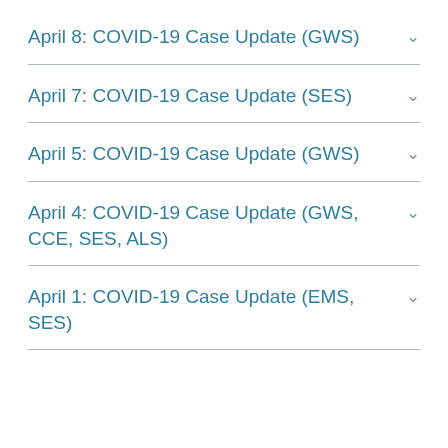April 8: COVID-19 Case Update (GWS)
April 7: COVID-19 Case Update (SES)
April 5: COVID-19 Case Update (GWS)
April 4: COVID-19 Case Update (GWS, CCE, SES, ALS)
April 1: COVID-19 Case Update (EMS, SES)